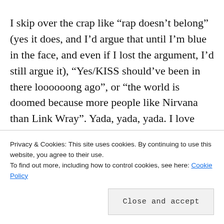I skip over the crap like “rap doesn’t belong” (yes it does, and I’d argue that until I’m blue in the face, and even if I lost the argument, I’d still argue it), “Yes/KISS should’ve been in there loooooong ago”, or “the world is doomed because more people like Nirvana than Link Wray”. Yada, yada, yada. I love watching the arguments unfold on various websites, and agree and disagree with so
Privacy & Cookies: This site uses cookies. By continuing to use this website, you agree to their use.
To find out more, including how to control cookies, see here: Cookie Policy
in every article about this comparatively (to